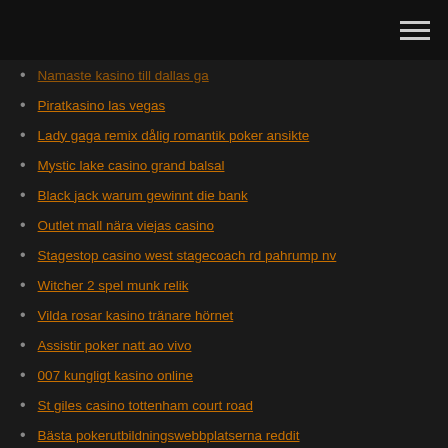Navigation menu header bar
Namaste kasino till dallas ga
Piratkasino las vegas
Lady gaga remix dålig romantik poker ansikte
Mystic lake casino grand balsal
Black jack warum gewinnt die bank
Outlet mall nära viejas casino
Stagestop casino west stagecoach rd pahrump nv
Witcher 2 spel munk relik
Vilda rosar kasino tränare hörnet
Assistir poker natt ao vivo
007 kungligt kasino online
St giles casino tottenham court road
Bästa pokerutbildningswebbplatserna reddit
Poker omedelbar registreringsbonus